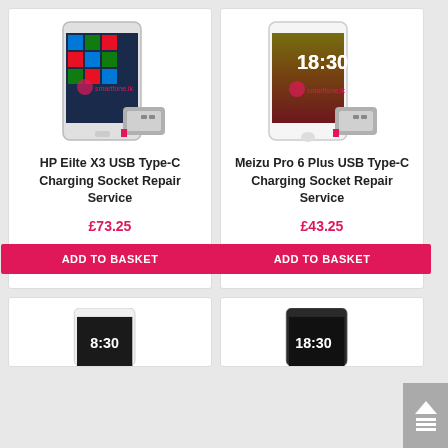[Figure (photo): HP Elite X3 smartphone with USB Type-C connector accessory, showing Windows 10 home screen with smartfone.lk watermark]
HP Eilte X3 USB Type-C Charging Socket Repair Service
£73.25
ADD TO BASKET
[Figure (photo): Meizu Pro 6 Plus smartphone with USB Type-C connector accessory, showing fiery wallpaper with smartfone.lk watermark]
Meizu Pro 6 Plus USB Type-C Charging Socket Repair Service
£43.25
ADD TO BASKET
[Figure (photo): Partial view of a white smartphone at bottom left]
[Figure (photo): Partial view of a dark smartphone at bottom right showing 18:30 time]